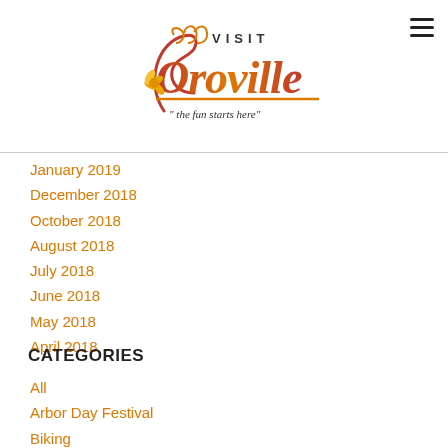[Figure (logo): Visit Oroville logo with orange and red script text and orange flower, tagline 'the fun starts here']
January 2019
December 2018
October 2018
August 2018
July 2018
June 2018
May 2018
April 2018
CATEGORIES
All
Arbor Day Festival
Biking